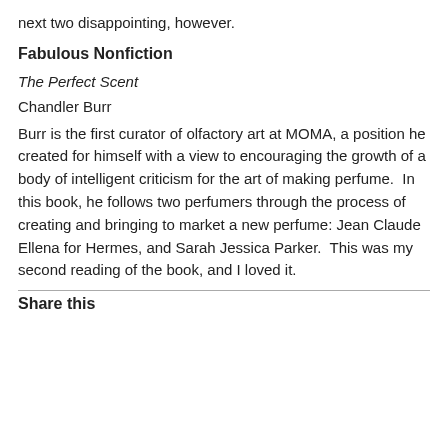next two disappointing, however.
Fabulous Nonfiction
The Perfect Scent
Chandler Burr
Burr is the first curator of olfactory art at MOMA, a position he created for himself with a view to encouraging the growth of a body of intelligent criticism for the art of making perfume.  In this book, he follows two perfumers through the process of creating and bringing to market a new perfume: Jean Claude Ellena for Hermes, and Sarah Jessica Parker.  This was my second reading of the book, and I loved it.
Share this